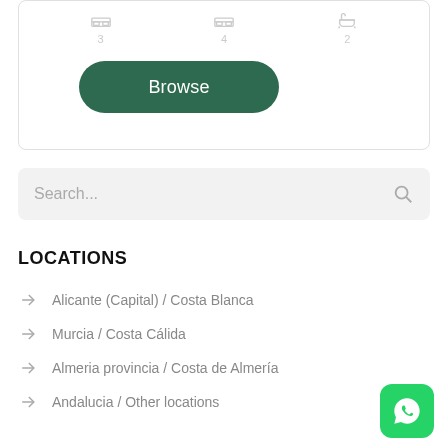[Figure (screenshot): Top card with bedroom/bath icons and numbers (3, 4, 2) in gray]
Browse
Search...
LOCATIONS
Alicante (Capital) / Costa Blanca
Murcia / Costa Cálida
Almeria provincia / Costa de Almería
Andalucia / Other locations
[Figure (logo): WhatsApp green icon button in bottom right corner]